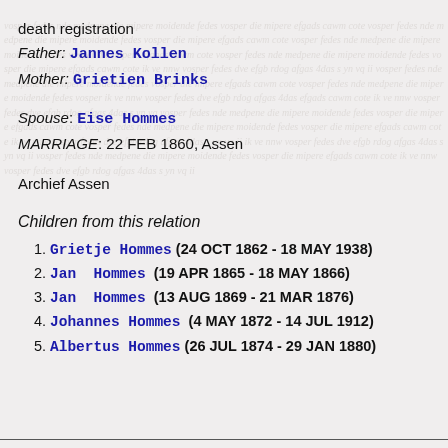death registration
Father: Jannes Kollen
Mother: Grietien Brinks
Spouse: Eise Hommes
MARRIAGE: 22 FEB 1860, Assen
Archief Assen
Children from this relation
Grietje Hommes (24 OCT 1862 - 18 MAY 1938)
Jan Hommes  (19 APR 1865 - 18 MAY 1866)
Jan Hommes  (13 AUG 1869 - 21 MAR 1876)
Johannes Hommes  (4 MAY 1872 - 14 JUL 1912)
Albertus Hommes  (26 JUL 1874 - 29 JAN 1880)